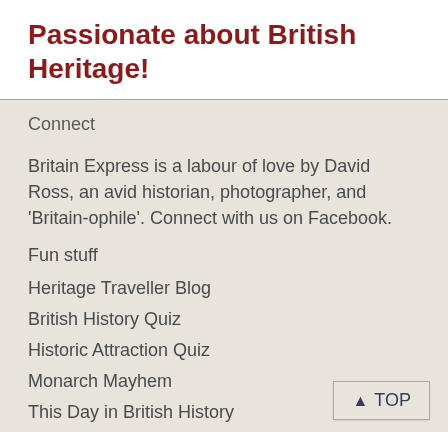Passionate about British Heritage!
Connect
Britain Express is a labour of love by David Ross, an avid historian, photographer, and 'Britain-ophile'. Connect with us on Facebook.
Fun stuff
Heritage Traveller Blog
British History Quiz
Historic Attraction Quiz
Monarch Mayhem
This Day in British History